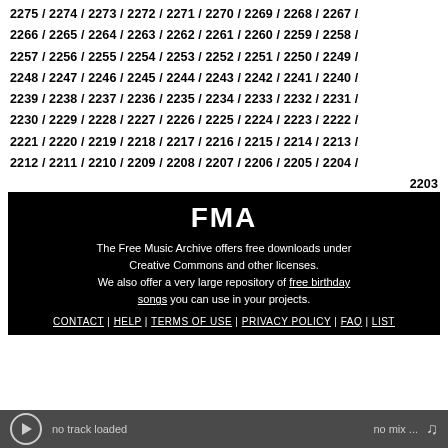2275 / 2274 / 2273 / 2272 / 2271 / 2270 / 2269 / 2268 / 2267 / 2266 / 2265 / 2264 / 2263 / 2262 / 2261 / 2260 / 2259 / 2258 / 2257 / 2256 / 2255 / 2254 / 2253 / 2252 / 2251 / 2250 / 2249 / 2248 / 2247 / 2246 / 2245 / 2244 / 2243 / 2242 / 2241 / 2240 / 2239 / 2238 / 2237 / 2236 / 2235 / 2234 / 2233 / 2232 / 2231 / 2230 / 2229 / 2228 / 2227 / 2226 / 2225 / 2224 / 2223 / 2222 / 2221 / 2220 / 2219 / 2218 / 2217 / 2216 / 2215 / 2214 / 2213 / 2212 / 2211 / 2210 / 2209 / 2208 / 2207 / 2206 / 2205 / 2204 / 2203
[Figure (logo): FMA logo in white bold text on black background]
The Free Music Archive offers free downloads under Creative Commons and other licenses. We also offer a very large repository of free birthday songs you can use in your projects.
CONTACT | HELP | TERMS OF USE | PRIVACY POLICY | FAQ | LIST
no track loaded   no mix ...